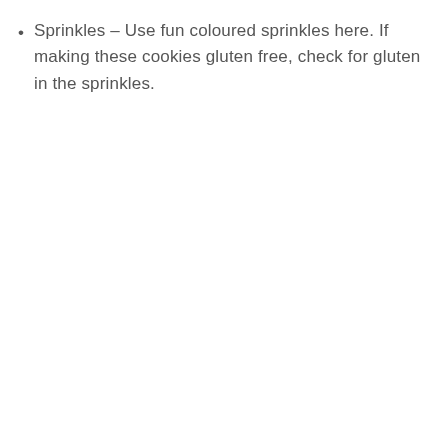Sprinkles – Use fun coloured sprinkles here. If making these cookies gluten free, check for gluten in the sprinkles.